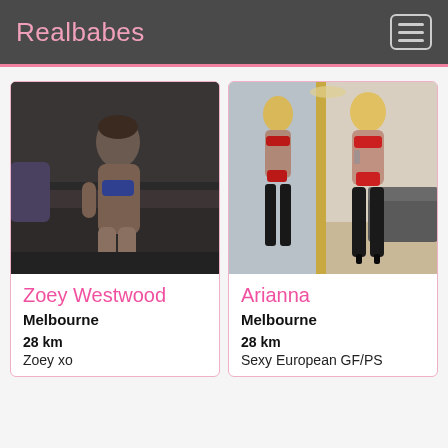Realbabes
[Figure (photo): Photo of Zoey Westwood wearing blue lingerie, seated on a dark sofa]
Zoey Westwood
Melbourne
28 km
Zoey xo
[Figure (photo): Photo of Arianna in red bikini and black thigh-high boots, standing in front of a mirror in a bright room]
Arianna
Melbourne
28 km
Sexy European GF/PS